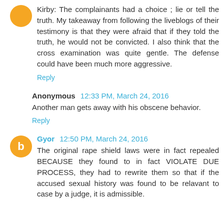Kirby: The complainants had a choice ; lie or tell the truth. My takeaway from following the liveblogs of their testimony is that they were afraid that if they told the truth, he would not be convicted. I also think that the cross examination was quite gentle. The defense could have been much more aggressive.
Reply
Anonymous 12:33 PM, March 24, 2016
Another man gets away with his obscene behavior.
Reply
Gyor 12:50 PM, March 24, 2016
The original rape shield laws were in fact repealed BECAUSE they found to in fact VIOLATE DUE PROCESS, they had to rewrite them so that if the accused sexual history was found to be relavant to case by a judge, it is admissible.